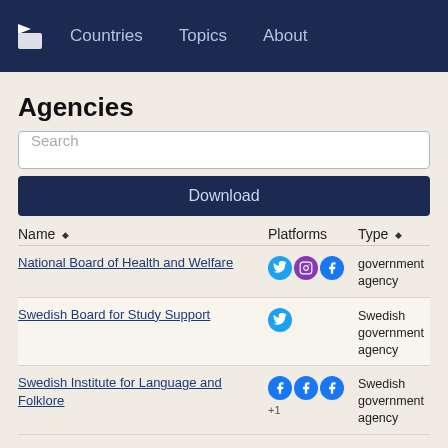Countries   Topics   About
Agencies
Search
Download
| Name | Platforms | Type |
| --- | --- | --- |
| National Board of Health and Welfare | Twitter, Instagram, Facebook | government agency |
| Swedish Board for Study Support | Twitter | Swedish government agency |
| Swedish Institute for Language and Folklore | Facebook, Facebook, Facebook +1 | Swedish government agency |